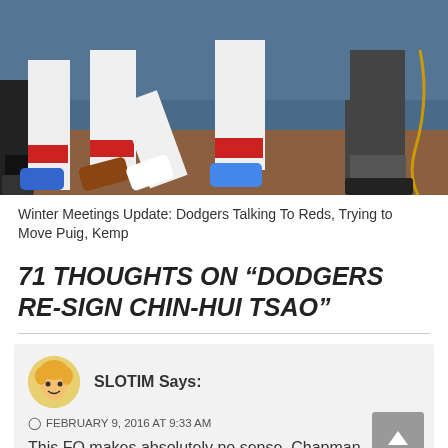[Figure (photo): Baseball players on field, showing legs and feet in white uniforms with red-striped socks and colored cleats, with a catcher in dark gear on the right side]
Winter Meetings Update: Dodgers Talking To Reds, Trying to Move Puig, Kemp
71 THOUGHTS ON “DODGERS RE-SIGN CHIN-HUI TSAO”
SLOTIM Says:
FEBRUARY 9, 2016 AT 9:33 AM
This FO makes absolutely no sense. Chapman